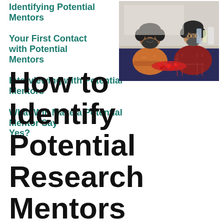Identifying Potential Mentors
[Figure (photo): Two men in a laboratory setting leaning over a table with red berries/specimens between them, smiling at the camera.]
Your First Contact with Potential Mentors
Interviewing with Potential Mentors
What Will Make a Potential Mentor Say Yes?
How to Identify Potential Research Mentors